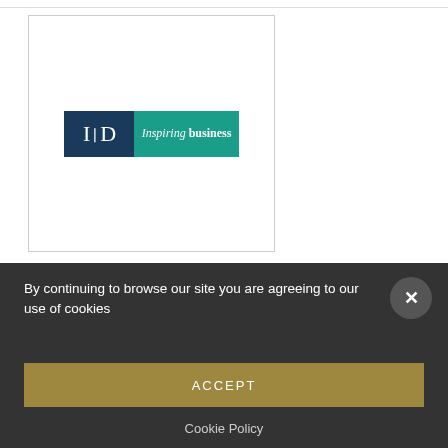[Figure (logo): IoD (Institute of Directors) logo — dark navy blue left panel with 'IoD' monogram in white, teal right panel with 'Inspiring business' text in white italic and bold. Displayed inside a light grey bordered box.]
By continuing to browse our site you are agreeing to our use of cookies
ACCEPT
Cookie Policy